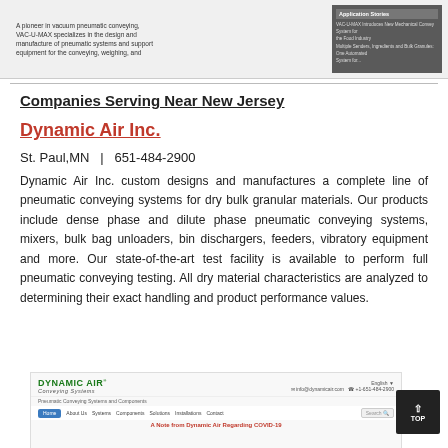[Figure (screenshot): Screenshot of VAC-U-MAX website showing company description and Application Stories panel]
Companies Serving Near New Jersey
Dynamic Air Inc.
St. Paul,MN  |  651-484-2900
Dynamic Air Inc. custom designs and manufactures a complete line of pneumatic conveying systems for dry bulk granular materials. Our products include dense phase and dilute phase pneumatic conveying systems, mixers, bulk bag unloaders, bin dischargers, feeders, vibratory equipment and more. Our state-of-the-art test facility is available to perform full pneumatic conveying testing. All dry material characteristics are analyzed to determining their exact handling and product performance values.
[Figure (screenshot): Screenshot of Dynamic Air Conveying Systems website homepage showing logo, navigation, and COVID-19 note]